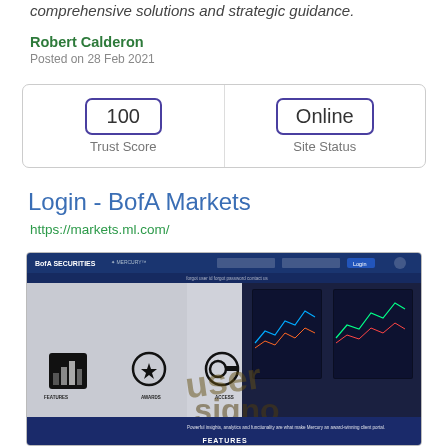comprehensive solutions and strategic guidance.
Robert Calderon
Posted on 28 Feb 2021
[Figure (infographic): Trust Score box showing 100 and Site Status showing Online, separated by a vertical divider, inside a rounded rectangle border]
Login - BofA Markets
https://markets.ml.com/
[Figure (screenshot): Screenshot of BofA Securities Mercury login page with navigation bar, monitor displays showing trading charts, features/awards/access icons, and a FEATURES label at bottom with user/signo watermark]